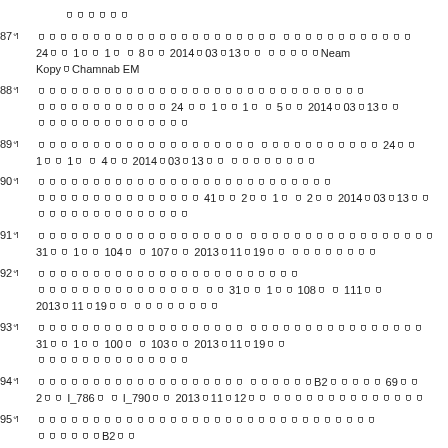០០០០០០
87។ ០០០០០០០០០០០០០០០០០០០០០០ ០០០០០០០០០០០០ 24០០ 1០០ 1០ ០ 8០០ 2014០03០13០០ ០០០០០Neam Kopy០Chamnab EM
88។ ០០០០០០០០០០០០០០០០០០០០០០០០០០០០០០ ០០០០០០០០០០០០ 24 ០០ 1០០ 1០ ០ 5០០ 2014០03០13០០ ០០០០០០០០០០០០០០
89។ ០០០០០០០០០០០០០០០០០០០០ ០០០០០០០០០០០ 24០០ 1០០ 1០ ០ 4០០ 2014០03០13០០ ០០០០០០០០
90។ ០០០០០០០០០០០០០០០០០០០០០០០០០០០ ០០០០០០០០០០០០០០០ 41០០ 2០០ 1០ ០ 2០០ 2014០03០13០០ ០០០០០០០០០០០០០០
91។ ០០០០០០០០០០០០០០០០០០០ ០០០០០០០០០០០០០០០០០ 31០០ 1០០ 104០ ០ 107០០ 2013០11០19០០ ០០០០០០០០
92។ ០០០០០០០០០០០០០០០០០០០០០០០០ ០០០០០០០០០០០០០០០ ០០ 31០០ 1០០ 108០ ០ 111០០ 2013០11០19០០ ០០០០០០០០
93។ ០០០០០០០០០០០០០០០០០០០ ០០០០០០០០០០០០០០០០ 31០០ 1០០ 100០ ០ 103០០ 2013០11០19០០ ០០០០០០០០០០០០០០
94។ ០០០០០០០០០០០០០០០០០០០ ០០០០០០B2០០០០០ 69០០ 2០០ I_786០ ០ I_790០០ 2013០11០12០០ ០០០០០០០០០០០០០០
95។ ០០០០០០០០០០០០០០០០០០០០០០០០០០០០០០០ ០០០០០០B2០០